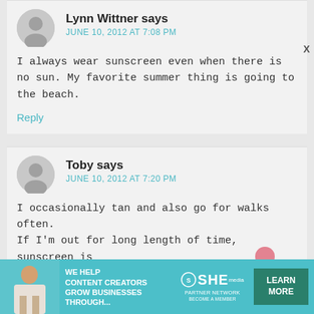Lynn Wittner says
JUNE 10, 2012 AT 7:08 PM
I always wear sunscreen even when there is no sun. My favorite summer thing is going to the beach.
Reply
Toby says
JUNE 10, 2012 AT 7:20 PM
I occasionally tan and also go for walks often. If I'm out for long length of time, sunscreen is
[Figure (infographic): SHE Media Partner Network advertisement banner with teal background, woman photo, text 'WE HELP CONTENT CREATORS GROW BUSINESSES THROUGH...', SHE logo, and Learn More button]